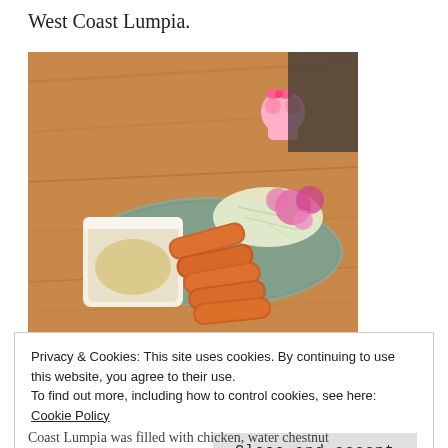West Coast Lumpia.
[Figure (photo): Photo of lumpia (Filipino spring rolls) on a stone plate with a white dipping sauce bowl, garnished with shredded cabbage and pink flowers, with a Hello Kitty figurine in the background, on a wooden table.]
Privacy & Cookies: This site uses cookies. By continuing to use this website, you agree to their use.
To find out more, including how to control cookies, see here: Cookie Policy
Close and accept
Coast Lumpia was filled with chicken, water chestnut